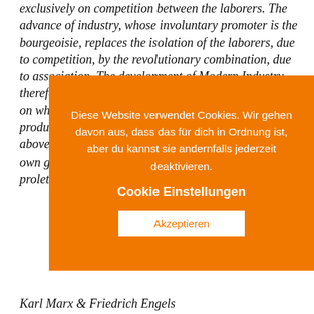exclusively on competition between the laborers. The advance of industry, whose involuntary promoter is the bourgeoisie, replaces the isolation of the laborers, due to competition, by the revolutionary combination, due to association. The development of Modern Industry, therefore, cuts from under its feet the very foundation on which the bourgeoisie produces and appropriates products. What the bourgeoisie therefore produces, above all, are its own grave-diggers. Its fall and the victory of the proletariat are equally inevitable.
[Figure (screenshot): Cookie consent overlay in orange background with text in German: 'Diese Website verwendet Cookies. Wir gehen davon aus, dass das für dich in Ordnung ist, aber du kannst sie andernfalls jederzeit deaktivieren.' with a bold link 'Cookie Einstellungen' and an 'Akzeptieren' button.]
Karl Marx & Friedrich Engels